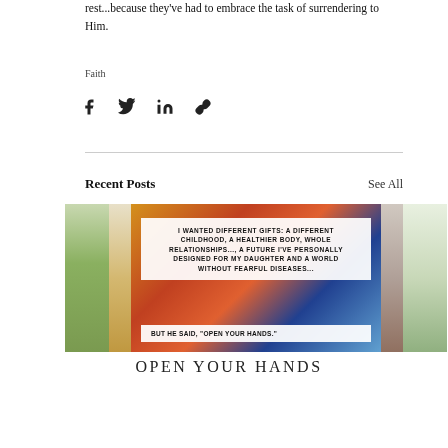rest...because they've had to embrace the task of surrendering to Him.
Faith
[Figure (infographic): Social sharing icons: Facebook, Twitter, LinkedIn, and a link icon]
Recent Posts
See All
[Figure (photo): Blog post thumbnail image with colorful painted doors and an overlaid quote: 'I wanted different gifts: a different childhood, a healthier body, whole relationships..., a future I've personally designed for my daughter and a world without fearful diseases... But He said, "Open your hands."']
OPEN YOUR HANDS